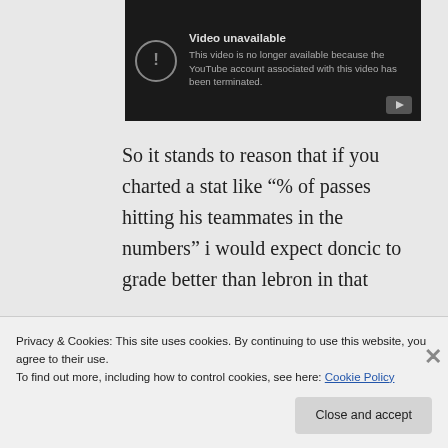[Figure (screenshot): YouTube 'Video unavailable' error box with dark background, exclamation icon in circle, text reading 'Video unavailable. This video is no longer available because the YouTube account associated with this video has been terminated.' and a YouTube play button icon.]
So it stands to reason that if you charted a stat like “% of passes hitting his teammates in the numbers” i would expect doncic to grade better than lebron in that
Privacy & Cookies: This site uses cookies. By continuing to use this website, you agree to their use.
To find out more, including how to control cookies, see here: Cookie Policy
Close and accept